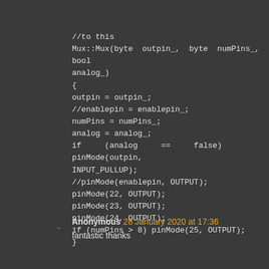//to this
Mux::Mux(byte outpin_, byte numPins_, bool analog_)
{
outpin = outpin_;
//enablepin = enablepin_;
numPins = numPins_;
analog = analog_;
if (analog == false) pinMode(outpin, INPUT_PULLUP);
//pinMode(enablepin, OUTPUT);
pinMode(22, OUTPUT);
pinMode(23, OUTPUT);
pinMode(24, OUTPUT);
if (numPins > 8) pinMode(25, OUTPUT);
}
Anonymous 28 January 2020 at 17:36
fantastic thanks